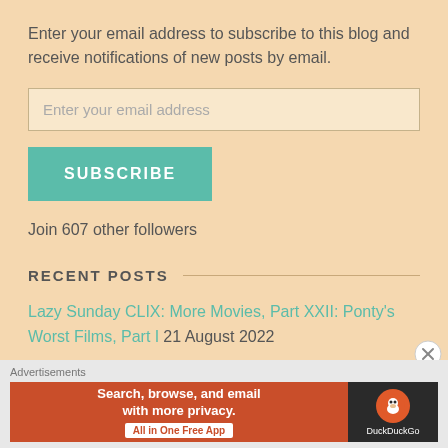Enter your email address to subscribe to this blog and receive notifications of new posts by email.
Enter your email address
SUBSCRIBE
Join 607 other followers
RECENT POSTS
Lazy Sunday CLIX: More Movies, Part XXII: Ponty's Worst Films, Part I 21 August 2022
[Figure (screenshot): DuckDuckGo advertisement banner: 'Search, browse, and email with more privacy. All in One Free App' with DuckDuckGo logo on dark background]
Advertisements